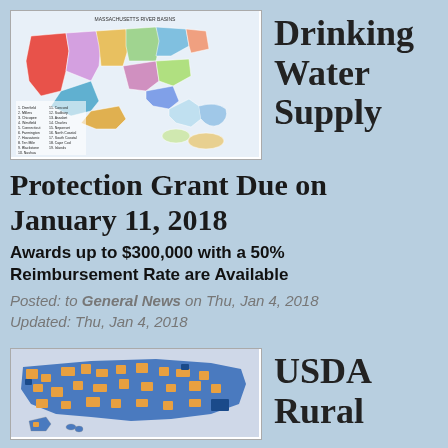[Figure (map): Massachusetts River Basins colored map with legend showing numbered basins]
Drinking Water Supply
Protection Grant Due on January 11, 2018
Awards up to $300,000 with a 50% Reimbursement Rate are Available
Posted: to General News on Thu, Jan 4, 2018
Updated: Thu, Jan 4, 2018
[Figure (map): USDA Rural map of the United States showing county-level data in blue and orange]
USDA Rural